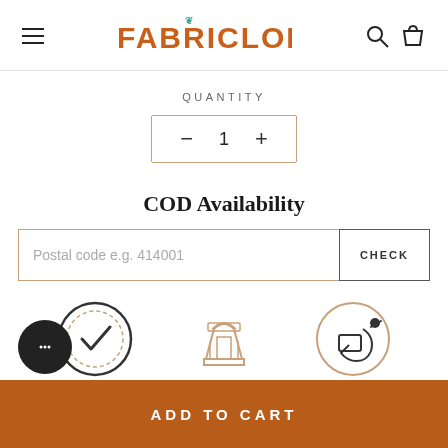FABRICLORE
QUANTITY
- 1 +
COD Availability
Postal code e.g. 414001
CHECK
[Figure (illustration): Three circular icons at the bottom: a quality check badge icon, a landmark/arch monument icon, and a delivery/package icon]
ADD TO CART